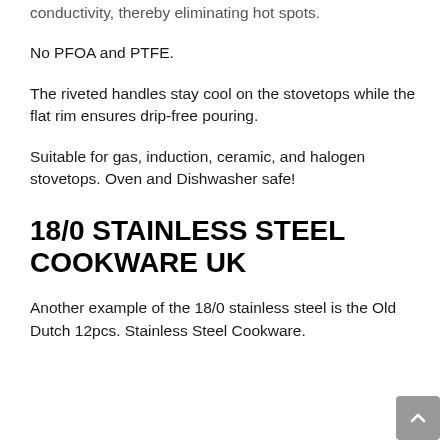conductivity, thereby eliminating hot spots.
No PFOA and PTFE.
The riveted handles stay cool on the stovetops while the flat rim ensures drip-free pouring.
Suitable for gas, induction, ceramic, and halogen stovetops. Oven and Dishwasher safe!
18/0 STAINLESS STEEL COOKWARE UK
Another example of the 18/0 stainless steel is the Old Dutch 12pcs. Stainless Steel Cookware.